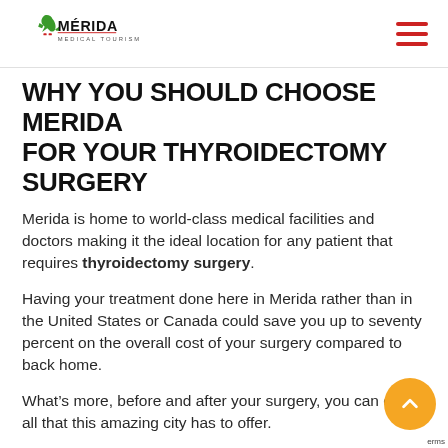Merida Medical Tourism logo and navigation menu
WHY YOU SHOULD CHOOSE MERIDA FOR YOUR THYROIDECTOMY SURGERY
Merida is home to world-class medical facilities and doctors making it the ideal location for any patient that requires thyroidectomy surgery.
Having your treatment done here in Merida rather than in the United States or Canada could save you up to seventy percent on the overall cost of your surgery compared to back home.
What’s more, before and after your surgery, you can enjoy all that this amazing city has to offer.